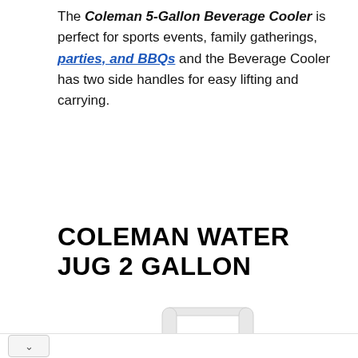The Coleman 5-Gallon Beverage Cooler is perfect for sports events, family gatherings, parties, and BBQs and the Beverage Cooler has two side handles for easy lifting and carrying.
COLEMAN WATER JUG 2 GALLON
[Figure (photo): Top portion of a Coleman 2-gallon water jug with white handle arch, white lid, and blue body visible at bottom]